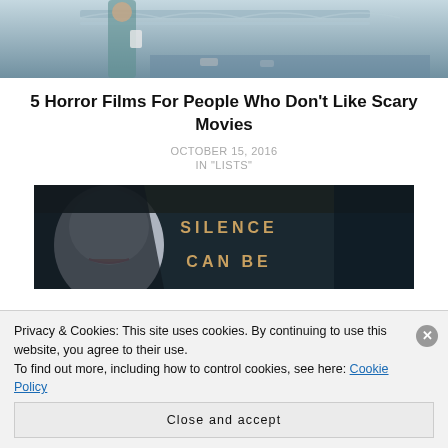[Figure (photo): Top portion of page showing a person in teal medical scrubs on a bridge, grayscale/muted tones, partial view]
5 Horror Films For People Who Don't Like Scary Movies
OCTOBER 15, 2016
IN "LISTS"
[Figure (photo): Movie still with dark background showing a pale face and text reading SILENCE CAN BE]
Privacy & Cookies: This site uses cookies. By continuing to use this website, you agree to their use.
To find out more, including how to control cookies, see here: Cookie Policy
Close and accept